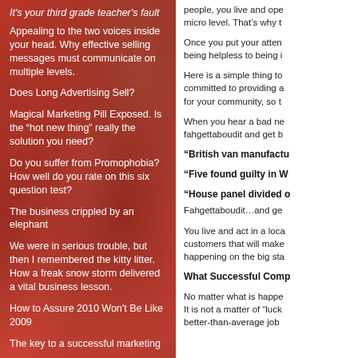It's your third grade teacher's fault
Appealing to the two voices inside your head. Why effective selling messages must communicate on multiple levels.
Does Long Advertising Sell?
Magical Marketing Pill Exposed. Is the "hot new thing" really the solution you need?
Do you suffer from Promophobia? How well do you rate on this six question test?
The business crippled by an elephant
We were in serious trouble, but then I remembered the kitty litter. How a freak snow storm delivered a vital business lesson.
How to Assure 2010 Won't Be Like 2009
The key to a successful marketing
people, you live and ope micro level. That's why t
Once you put your atten being helpless to being i
Here is a simple thing to committed to providing a for your community, so t
When you hear a bad ne fahgettaboudit and get b
"British van manufactu
"Five found guilty in W
"House panel divided o Fahgettaboudit...and ge
You live and act in a loca customers that will make happening on the big sta
What Successful Comp
No matter what is happe It is not a matter of "luck better-than-average job